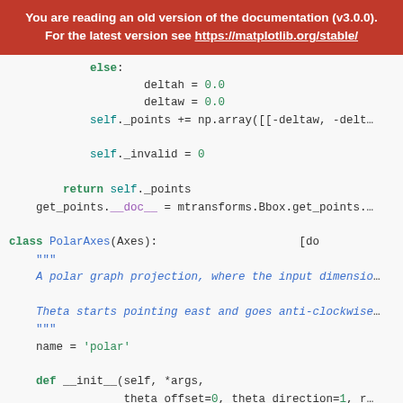You are reading an old version of the documentation (v3.0.0). For the latest version see https://matplotlib.org/stable/
else:
        deltah = 0.0
        deltaw = 0.0
        self._points += np.array([[-deltaw, -delta...

        self._invalid = 0

        return self._points
    get_points.__doc__ = mtransforms.Bbox.get_points.

class PolarAxes(Axes):          [do
    """
    A polar graph projection, where the input dimensio...

    Theta starts pointing east and goes anti-clockwise...
    """
    name = 'polar'

    def __init__(self, *args,
                 theta_offset=0, theta_direction=1, r...
                 **kwargs):